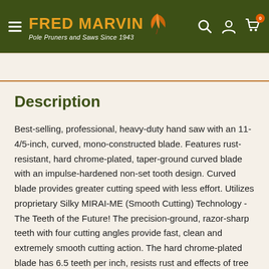FRED MARVIN — Pole Pruners and Saws Since 1943
Description
Best-selling, professional, heavy-duty hand saw with an 11-4/5-inch, curved, mono-constructed blade. Features rust-resistant, hard chrome-plated, taper-ground curved blade with an impulse-hardened non-set tooth design. Curved blade provides greater cutting speed with less effort. Utilizes proprietary Silky MIRAI-ME (Smooth Cutting) Technology - The Teeth of the Future! The precision-ground, razor-sharp teeth with four cutting angles provide fast, clean and extremely smooth cutting action. The hard chrome-plated blade has 6.5 teeth per inch, resists rust and effects of tree resin, and wipes clean easily. Molded-rubber